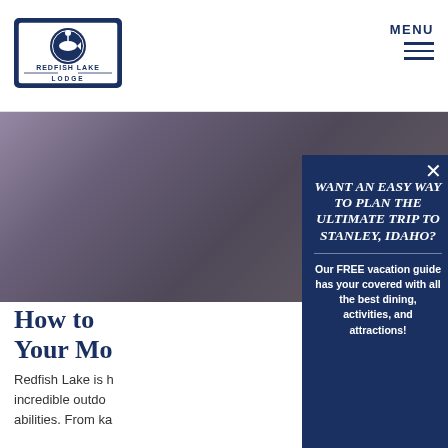[Figure (logo): Redfish Lake Lodge logo - circular badge with fish silhouette, navy blue border and text]
MENU
[Figure (photo): Hero background image showing blurred outdoor scenic view in purple-grey tones]
How to [Make] Your Mo[st of]
Redfish Lake is h[ome to] incredible outdo[or activities for all] abilities. From ka[yaking to hiking]
WANT AN EASY WAY TO PLAN THE ULTIMATE TRIP TO STANLEY, IDAHO?
Our FREE vacation guide has your covered with all the best dining, activities, and attractions!